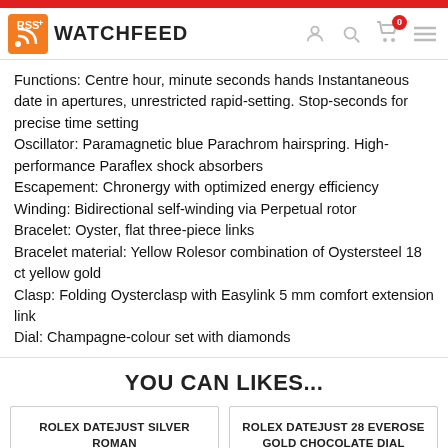WATCHFEED
Functions: Centre hour, minute seconds hands Instantaneous date in apertures, unrestricted rapid-setting. Stop-seconds for precise time setting
Oscillator: Paramagnetic blue Parachrom hairspring. High-performance Paraflex shock absorbers
Escapement: Chronergy with optimized energy efficiency
Winding: Bidirectional self-winding via Perpetual rotor
Bracelet: Oyster, flat three-piece links
Bracelet material: Yellow Rolesor combination of Oystersteel 18 ct yellow gold
Clasp: Folding Oysterclasp with Easylink 5 mm comfort extension link
Dial: Champagne-colour set with diamonds
YOU CAN LIKES...
ROLEX DATEJUST SILVER ROMAN DIAL 18KT WHITE GOLD FLUTED
$126.00
ROLEX DATEJUST 28 EVEROSE GOLD CHOCOLATE DIAL M279175-
$139.00
ROLEX DATE JUST CHAMPAGNE
ROLEX DATE JUST BLACK ROMAN